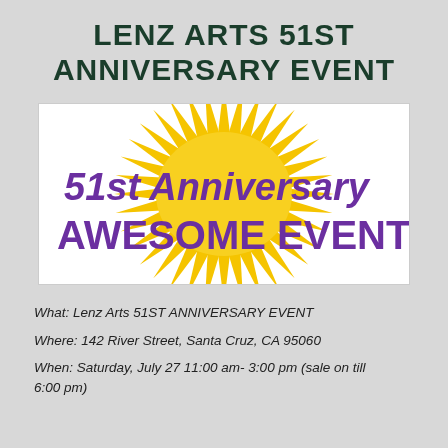LENZ ARTS 51ST ANNIVERSARY EVENT
[Figure (illustration): Promotional graphic with a yellow starburst background and purple bold text reading '51st Anniversary AWESOME EVENT!']
What: Lenz Arts 51ST ANNIVERSARY EVENT
Where: 142 River Street, Santa Cruz, CA 95060
When: Saturday, July 27 11:00 am- 3:00 pm (sale on till 6:00 pm)